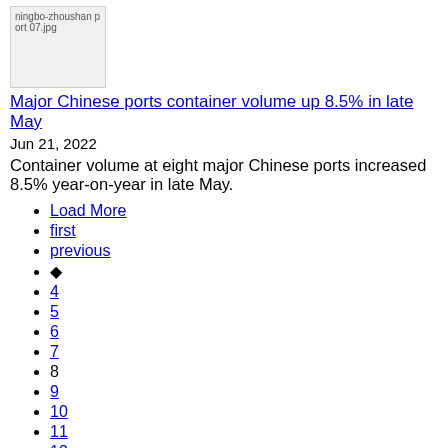[Figure (other): Thumbnail image placeholder labeled 'ningbo-zhoushan port 07.jpg']
Major Chinese ports container volume up 8.5% in late May
Jun 21, 2022
Container volume at eight major Chinese ports increased 8.5% year-on-year in late May.
Load More
first
previous
◆
4
5
6
7
8
9
10
11
12
next
last
Load More